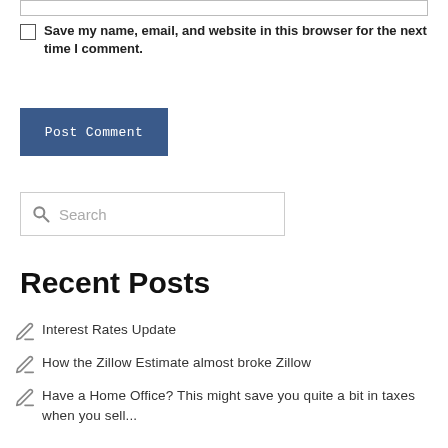[input field]
Save my name, email, and website in this browser for the next time I comment.
Post Comment
Search
Recent Posts
Interest Rates Update
How the Zillow Estimate almost broke Zillow
Have a Home Office? This might save you quite a bit in taxes when you sell...